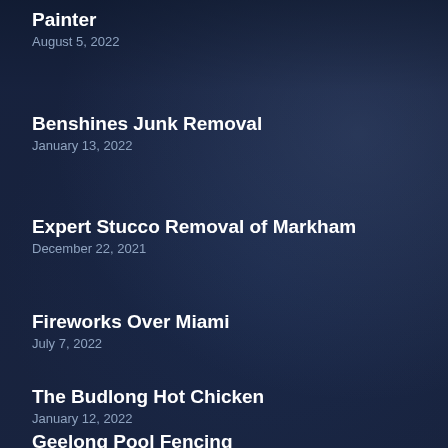Painter
August 5, 2022
Benshines Junk Removal
January 13, 2022
Expert Stucco Removal of Markham
December 22, 2021
Fireworks Over Miami
July 7, 2022
The Budlong Hot Chicken
January 12, 2022
Geelong Pool Fencing